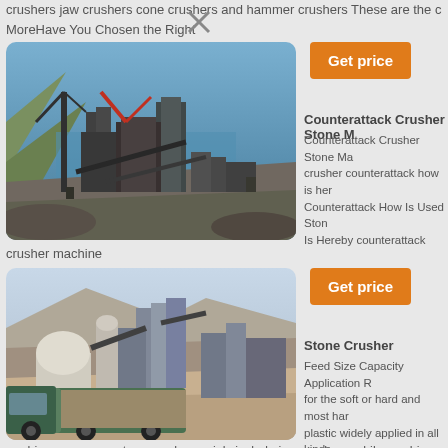crushers jaw crushers cone crushers and hammer crushers These are the c
MoreHave You Chosen the Right
[Figure (photo): Aerial view of a large stone crushing facility with industrial equipment and cranes near water]
crusher machine
[Figure (other): Orange Get price button]
Counterattack Crusher Stone M
Counterattack Crusher Stone Ma crusher counterattack how is her Counterattack How Is Used Ston Is Hereby counterattack hammer
[Figure (photo): Stone crusher facility with a truck loaded with materials in mountainous terrain]
[Figure (other): Orange Get price button]
Stone Crusher
Feed Size Capacity Application R for the soft or hard and most har plastic widely applied in all kinds Introduction Stone crusher is ess
machinery common stone crusher mainly include jaw crusher mobile crushin
crusher impact crusher compound crusher
[Figure (other): Orange Get price button]
shanghai stone machinery cou
shanghai stone machinery count 2014 This small stone crushing p making line rock increased life of